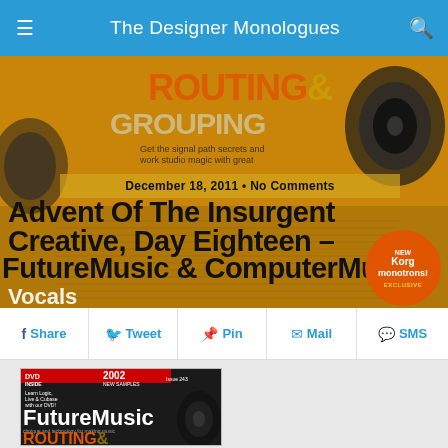The Designer Monologues
[Figure (photo): Blog post hero image showing a music magazine cover with text 'ROUTING & GROUPING', 'Vocals', 'NEW Korg monotrons! EXCLUSIVE' overlaid with article title and date]
December 18, 2011 • No Comments
Advent Of The Insurgent Creative, Day Eighteen – FutureMusic & ComputerMusic
Share
Tweet
Pin
Mail
SMS
[Figure (photo): FutureMusic magazine cover featuring 'ROUTING &' text, studio monitors, and promotional content including '2002 NEW SAMPLES', 'DVD INSIDE', and 'NEW Korg monotrons']